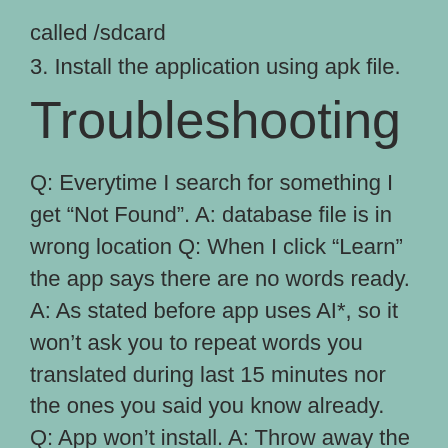called /sdcard
3. Install the application using apk file.
Troubleshooting
Q: Everytime I search for something I get “Not Found”. A: database file is in wrong location Q: When I click “Learn” the app says there are no words ready. A: As stated before app uses AI*, so it won’t ask you to repeat words you translated during last 15 minutes nor the ones you said you know already.
Q: App won’t install. A: Throw away the iphone and buy a proper phone.